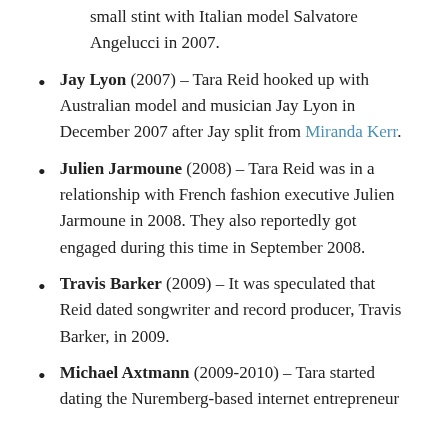small stint with Italian model Salvatore Angelucci in 2007.
Jay Lyon (2007) – Tara Reid hooked up with Australian model and musician Jay Lyon in December 2007 after Jay split from Miranda Kerr.
Julien Jarmoune (2008) – Tara Reid was in a relationship with French fashion executive Julien Jarmoune in 2008. They also reportedly got engaged during this time in September 2008.
Travis Barker (2009) – It was speculated that Reid dated songwriter and record producer, Travis Barker, in 2009.
Michael Axtmann (2009-2010) – Tara started dating the Nuremberg-based internet entrepreneur